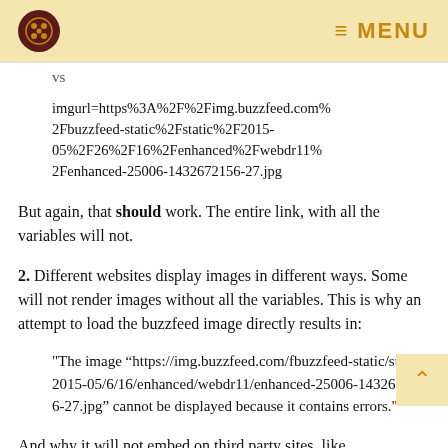MENU
imgurl=https%3A%2F%2Fimg.buzzfeed.com%2Fbuzzfeed-static%2Fstatic%2F2015-05%2F26%2F16%2Fenhanced%2Fwebdr11%2Fenhanced-25006-1432672156-27.jpg
But again, that should work. The entire link, with all the variables will not.
2. Different websites display images in different ways. Some will not render images without all the variables. This is why an attempt to load the buzzfeed image directly results in:
"The image “https://img.buzzfeed.com/fbuzzfeed-static/static/2015-05/6/16/enhanced/webdr11/enhanced-25006-1432672156-27.jpg” cannot be displayed because it contains errors."
And why it will not embed on third party sites, like